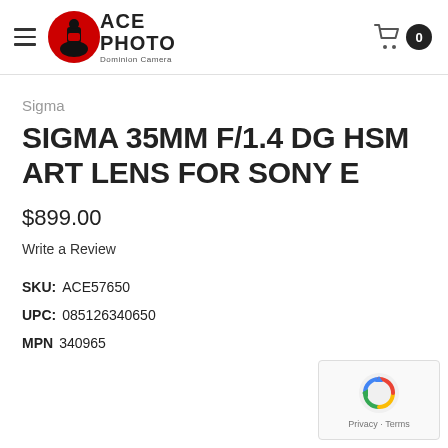ACE PHOTO Dominion Camera
Sigma
SIGMA 35MM F/1.4 DG HSM ART LENS FOR SONY E
$899.00
Write a Review
SKU: ACE57650
UPC: 085126340650
MPN 340965
[Figure (logo): reCAPTCHA privacy badge with blue arrows logo and Privacy · Terms text]